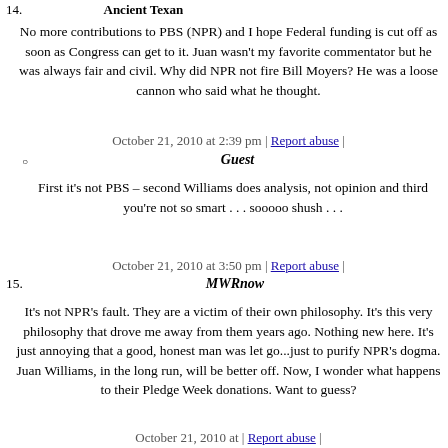14.  Ancient Texan
No more contributions to PBS (NPR) and I hope Federal funding is cut off as soon as Congress can get to it. Juan wasn't my favorite commentator but he was always fair and civil. Why did NPR not fire Bill Moyers? He was a loose cannon who said what he thought.
October 21, 2010 at 2:39 pm | Report abuse |
Guest
First it's not PBS – second Williams does analysis, not opinion and third you're not so smart . . . sooooo shush . . .
October 21, 2010 at 3:50 pm | Report abuse |
15. MWRnow
It's not NPR's fault. They are a victim of their own philosophy. It's this very philosophy that drove me away from them years ago. Nothing new here. It's just annoying that a good, honest man was let go...just to purify NPR's dogma. Juan Williams, in the long run, will be better off. Now, I wonder what happens to their Pledge Week donations. Want to guess?
October 21, 2010 at | Report abuse |